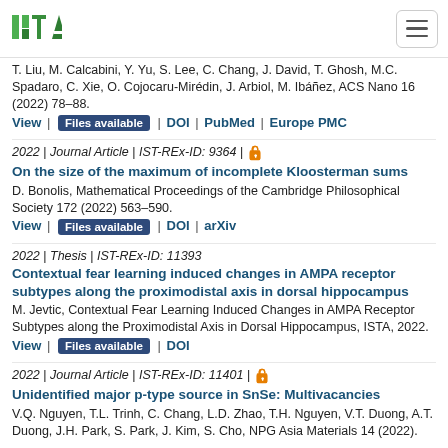[Figure (logo): ISTA institute logo in green]
T. Liu, M. Calcabini, Y. Yu, S. Lee, C. Chang, J. David, T. Ghosh, M.C. Spadaro, C. Xie, O. Cojocaru-Mirédin, J. Arbiol, M. Ibáñez, ACS Nano 16 (2022) 78–88.
View | Files available | DOI | PubMed | Europe PMC
2022 | Journal Article | IST-REx-ID: 9364 | [open access]
On the size of the maximum of incomplete Kloosterman sums
D. Bonolis, Mathematical Proceedings of the Cambridge Philosophical Society 172 (2022) 563–590.
View | Files available | DOI | arXiv
2022 | Thesis | IST-REx-ID: 11393
Contextual fear learning induced changes in AMPA receptor subtypes along the proximodistal axis in dorsal hippocampus
M. Jevtic, Contextual Fear Learning Induced Changes in AMPA Receptor Subtypes along the Proximodistal Axis in Dorsal Hippocampus, ISTA, 2022.
View | Files available | DOI
2022 | Journal Article | IST-REx-ID: 11401 | [open access]
Unidentified major p-type source in SnSe: Multivacancies
V.Q. Nguyen, T.L. Trinh, C. Chang, L.D. Zhao, T.H. Nguyen, V.T. Duong, A.T. Duong, J.H. Park, S. Park, J. Kim, S. Cho, NPG Asia Materials 14 (2022).